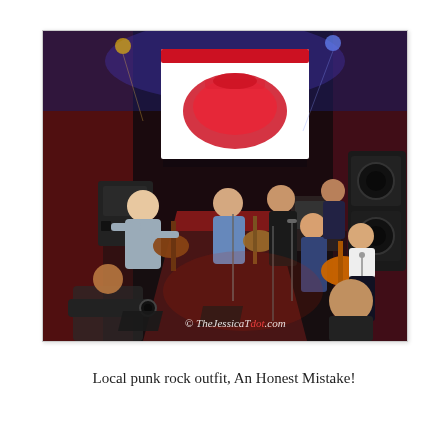[Figure (photo): A punk rock band performing on a dimly lit stage. Multiple musicians are visible including guitarists and a vocalist. A large projection screen shows a red decorative logo on white background. The venue has red and blue lighting. A watermark reads '© TheJessicaTdot.com'.]
Local punk rock outfit, An Honest Mistake!